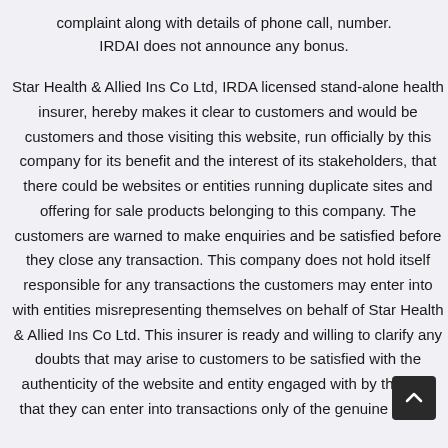complaint along with details of phone call, number. IRDAI does not announce any bonus.
Star Health & Allied Ins Co Ltd, IRDA licensed stand-alone health insurer, hereby makes it clear to customers and would be customers and those visiting this website, run officially by this company for its benefit and the interest of its stakeholders, that there could be websites or entities running duplicate sites and offering for sale products belonging to this company. The customers are warned to make enquiries and be satisfied before they close any transaction. This company does not hold itself responsible for any transactions the customers may enter into with entities misrepresenting themselves on behalf of Star Health & Allied Ins Co Ltd. This insurer is ready and willing to clarify any doubts that may arise to customers to be satisfied with the authenticity of the website and entity engaged with by them so that they can enter into transactions only of the genuine kind to